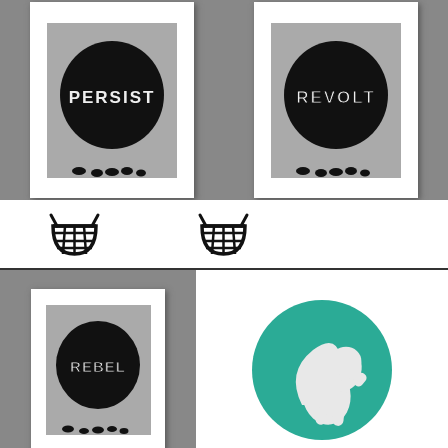[Figure (photo): Two framed prints side by side on grey shelf. Left print shows 'PERSIST' in white stencil text over large black circle. Right print shows 'REVOLT' in white stencil text over large black circle. Small black pebbles scattered below frames.]
[Figure (illustration): Shopping basket icon (left)]
[Figure (illustration): Shopping basket icon (right)]
[Figure (photo): Framed print showing 'REBEL' in white stencil text over large black circle on grey background, small black pebbles below.]
[Figure (illustration): Teal/green circular badge with white squirrel figure]
[Figure (illustration): Shopping basket icon (left, second row)]
[Figure (illustration): Shopping basket icon (right, second row)]
[Figure (illustration): Triangle/up arrow icon]
[Figure (photo): Partial teal circular badge visible at bottom left]
[Figure (photo): Partial teal circular badge visible at bottom center]